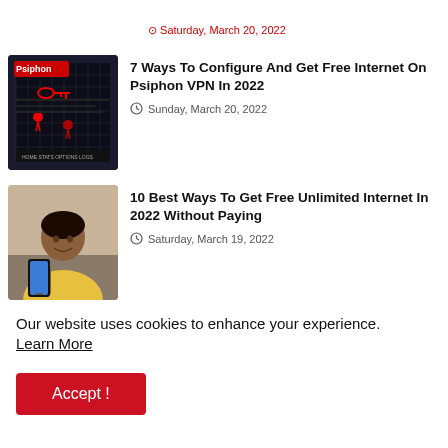Saturday, March 20, 2022
[Figure (screenshot): Thumbnail image of Psiphon VPN interface with keys and location icons on dark background]
7 Ways To Configure And Get Free Internet On Psiphon VPN In 2022
Sunday, March 20, 2022
[Figure (photo): Woman in yellow sweater smiling and looking at her smartphone]
10 Best Ways To Get Free Unlimited Internet In 2022 Without Paying
Saturday, March 19, 2022
[Figure (illustration): Red circular notification bell icon]
Our website uses cookies to enhance your experience.
Learn More
Accept !